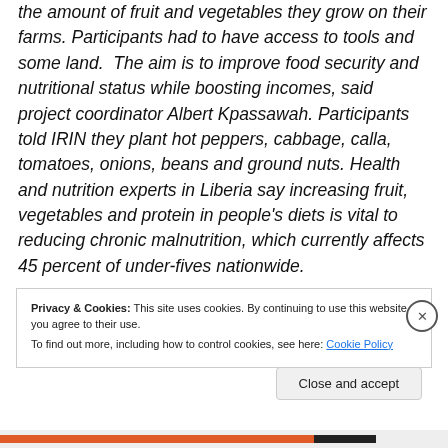the amount of fruit and vegetables they grow on their farms. Participants had to have access to tools and some land. The aim is to improve food security and nutritional status while boosting incomes, said project coordinator Albert Kpassawah. Participants told IRIN they plant hot peppers, cabbage, calla, tomatoes, onions, beans and ground nuts. Health and nutrition experts in Liberia say increasing fruit, vegetables and protein in people's diets is vital to reducing chronic malnutrition, which currently affects 45 percent of under-fives nationwide.
Privacy & Cookies: This site uses cookies. By continuing to use this website, you agree to their use.
To find out more, including how to control cookies, see here: Cookie Policy
Close and accept